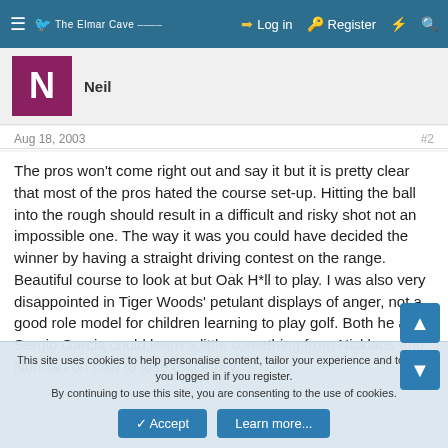≡ The Elmar Cave — Log in Register ⚡ 🔍
Neil
Aug 18, 2003	#2
The pros won't come right out and say it but it is pretty clear that most of the pros hated the course set-up. Hitting the ball into the rough should result in a difficult and risky shot not an impossible one. The way it was you could have decided the winner by having a straight driving contest on the range. Beautiful course to look at but Oak H*ll to play. I was also very disappointed in Tiger Woods' petulant displays of anger, not a good role model for children learning to play golf. Both he and Sergio Garcia could learn a little something from Nicklaus and Norman on how to lose gracefully.
This site uses cookies to help personalise content, tailor your experience and to keep you logged in if you register.
By continuing to use this site, you are consenting to the use of cookies.